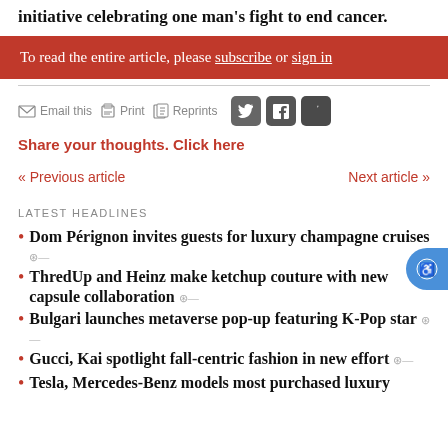initiative celebrating one man's fight to end cancer.
To read the entire article, please subscribe or sign in
Email this  Print  Reprints
Share your thoughts. Click here
« Previous article
Next article »
LATEST HEADLINES
Dom Pérignon invites guests for luxury champagne cruises
ThredUp and Heinz make ketchup couture with new capsule collaboration
Bulgari launches metaverse pop-up featuring K-Pop star
Gucci, Kai spotlight fall-centric fashion in new effort
Tesla, Mercedes-Benz models most purchased luxury